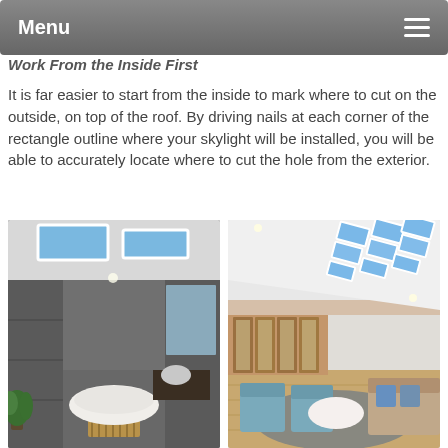Menu
Work From the Inside First
It is far easier to start from the inside to mark where to cut on the outside, on top of the roof. By driving nails at each corner of the rectangle outline where your skylight will be installed, you will be able to accurately locate where to cut the hole from the exterior.
[Figure (photo): Modern bathroom with skylights in ceiling, freestanding bathtub, dark stone tiles, and wooden bath mat]
[Figure (photo): Bright living room with multiple rectangular skylights arranged in a grid pattern on an angled white ceiling, blue armchairs and sofa]